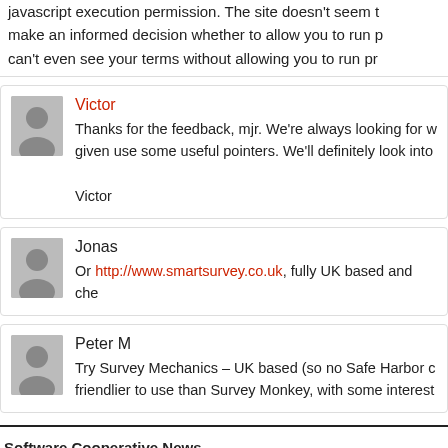javascript execution permission. The site doesn't seem to make an informed decision whether to allow you to run p... can't even see your terms without allowing you to run pr...
Victor
Thanks for the feedback, mjr. We're always looking for w... given use some useful pointers. We'll definitely look into...
Victor
Jonas
Or http://www.smartsurvey.co.uk, fully UK based and che...
Peter M
Try Survey Mechanics – UK based (so no Safe Harbor c... friendlier to use than Survey Monkey, with some interest...
Software Cooperative News